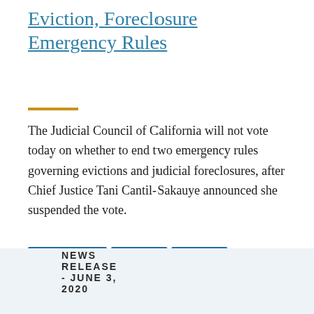Eviction, Foreclosure Emergency Rules
The Judicial Council of California will not vote today on whether to end two emergency rules governing evictions and judicial foreclosures, after Chief Justice Tani Cantil-Sakauye announced she suspended the vote.
CHIEF JUSTICE
COVID-19
EVICTION
FORECLOSURE
JUDICIAL COUNCIL
NEWS RELEASE - JUNE 3, 2020